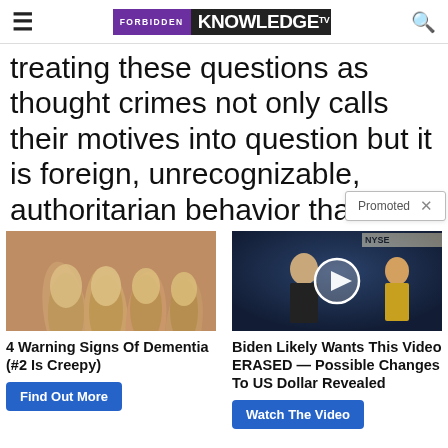FORBIDDEN KNOWLEDGE TV
treating these questions as thought crimes not only calls their motives into question but it is foreign, unrecognizable, authoritarian behavior that is just un-Am...
[Figure (photo): Close-up photo of fingernails showing yellowing]
[Figure (screenshot): Video thumbnail of man on TV studio set with NYSE backdrop and play button overlay]
4 Warning Signs Of Dementia (#2 Is Creepy)
Biden Likely Wants This Video ERASED — Possible Changes To US Dollar Revealed